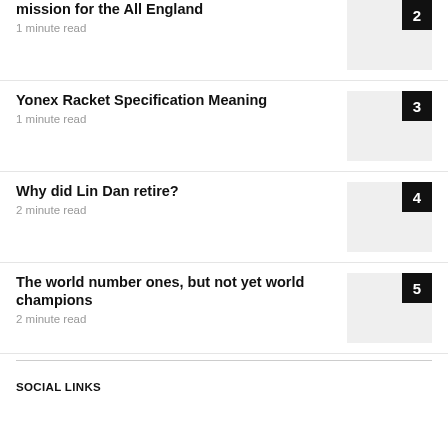mission for the All England
1 minute read
Yonex Racket Specification Meaning
1 minute read
Why did Lin Dan retire?
2 minute read
The world number ones, but not yet world champions
2 minute read
SOCIAL LINKS